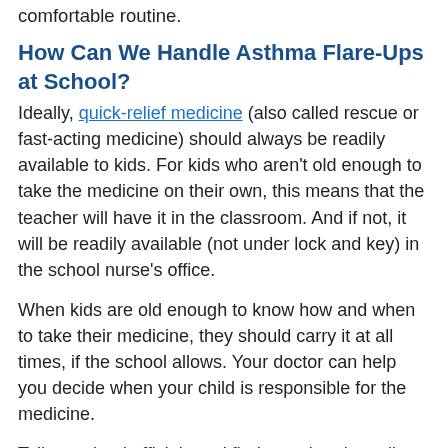comfortable routine.
How Can We Handle Asthma Flare-Ups at School?
Ideally, quick-relief medicine (also called rescue or fast-acting medicine) should always be readily available to kids. For kids who aren't old enough to take the medicine on their own, this means that the teacher will have it in the classroom. And if not, it will be readily available (not under lock and key) in the school nurse's office.
When kids are old enough to know how and when to take their medicine, they should carry it at all times, if the school allows. Your doctor can help you decide when your child is responsible for the medicine.
Talk to school officials and find out what they allow. Some schools may allow...